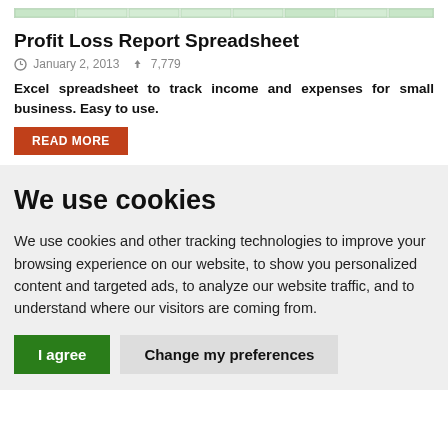[Figure (screenshot): Partial spreadsheet preview showing green cells with data columns]
Profit Loss Report Spreadsheet
January 2, 2013   7,779
Excel spreadsheet to track income and expenses for small business. Easy to use.
READ MORE
We use cookies
We use cookies and other tracking technologies to improve your browsing experience on our website, to show you personalized content and targeted ads, to analyze our website traffic, and to understand where our visitors are coming from.
I agree   Change my preferences